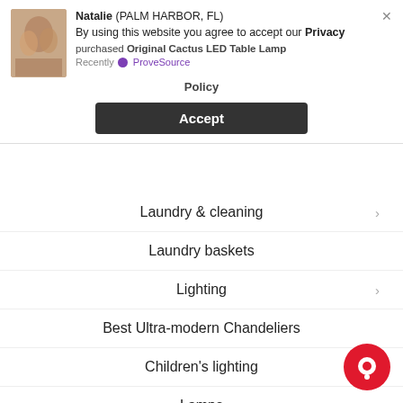[Figure (screenshot): Privacy policy banner overlay with product image, text and Accept button. Shows notification: Natalie (PALM HARBOR, FL) purchased Original Cactus LED Table Lamp - Recently via ProveSource. Banner text: By using this website you agree to accept our Privacy Policy. Accept button in dark background.]
Laundry & cleaning
Laundry baskets
Lighting
Best Ultra-modern Chandeliers
Children's lighting
Lamps
Reading Lamps
Modern Chandeliers
Others
Outdoor Chandeliers